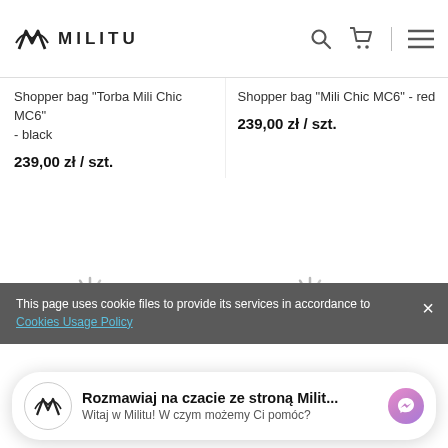MILITU
Shopper bag "Torba Mili Chic MC6" - black
239,00 zł / szt.
Shopper bag "Mili Chic MC6" - red
239,00 zł / szt.
[Figure (other): Loading spinner icon (left product)]
[Figure (other): Loading spinner icon (right product)]
This page uses cookie files to provide its services in accordance to
Rozmawiaj na czacie ze stroną Milit...
Witaj w Militu! W czym możemy Ci pomóc?